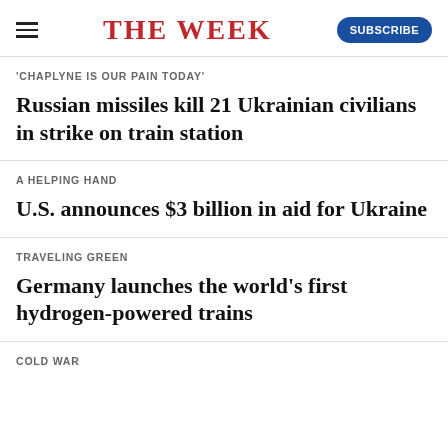THE WEEK
'CHAPLYNE IS OUR PAIN TODAY'
Russian missiles kill 21 Ukrainian civilians in strike on train station
A HELPING HAND
U.S. announces $3 billion in aid for Ukraine
TRAVELING GREEN
Germany launches the world's first hydrogen-powered trains
COLD WAR